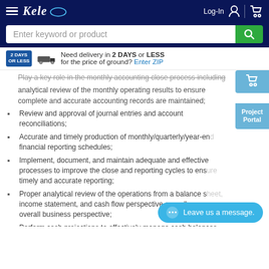Kele — Log-In [user icon] | [cart icon]
Enter keyword or product [search button]
Need delivery in 2 DAYS or LESS for the price of ground? Enter ZIP
Play a key role in the monthly accounting close process including analytical review of the monthly operating results to ensure complete and accurate accounting records are maintained;
Review and approval of journal entries and account reconciliations;
Accurate and timely production of monthly/quarterly/year-end financial reporting schedules;
Implement, document, and maintain adequate and effective processes to improve the close and reporting cycles to ensure timely and accurate reporting;
Proper analytical review of the operations from a balance sheet, income statement, and cash flow perspective as well as an overall business perspective;
Perform cash projections to effectively manage cash balances and maximize the return on any excess cash balances;
Support external financial audit and the preparation of annual tax return with outside CPA firm;
Complete other ad hoc reporting requirements and data analytics using query-based reporting;
Any other responsibilities that may be…